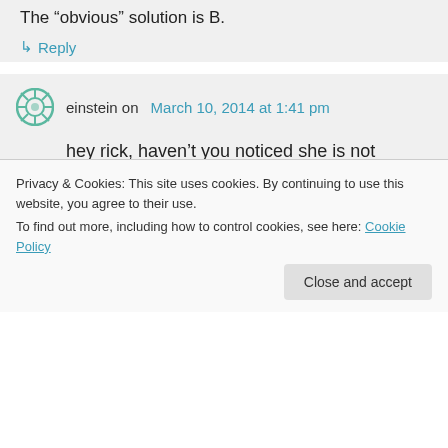The “obvious” solution is B.
↳ Reply
einstein on March 10, 2014 at 1:41 pm
hey rick, haven’t you noticed she is not defending eating lots of muscle meats? on the contrary. but eating tripe, intestines, kidneys, livers, brains, gizzard, bone marrow etc! that’s what I call a healthy diet
Privacy & Cookies: This site uses cookies. By continuing to use this website, you agree to their use.
To find out more, including how to control cookies, see here: Cookie Policy
Close and accept
vegan already! the other half – I am eating